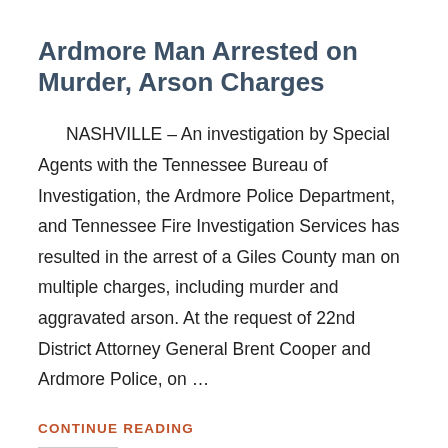Ardmore Man Arrested on Murder, Arson Charges
NASHVILLE – An investigation by Special Agents with the Tennessee Bureau of Investigation, the Ardmore Police Department, and Tennessee Fire Investigation Services has resulted in the arrest of a Giles County man on multiple charges, including murder and aggravated arson. At the request of 22nd District Attorney General Brent Cooper and Ardmore Police, on ...
CONTINUE READING